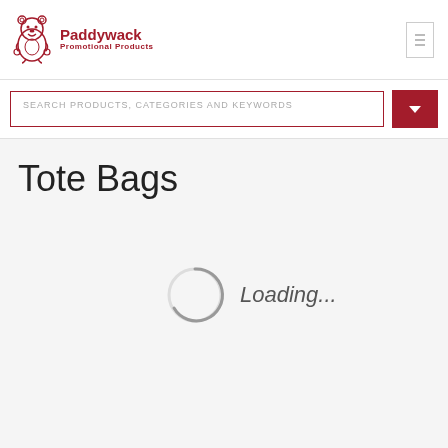[Figure (logo): Paddywack Promotional Products logo with cartoon bear mascot and red text]
SEARCH PRODUCTS, CATEGORIES AND KEYWORDS
Tote Bags
[Figure (other): Loading spinner animation with 'Loading...' text]